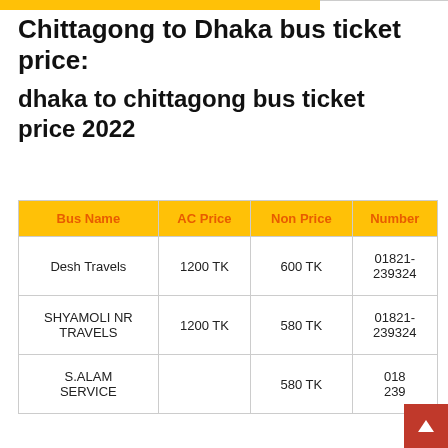Chittagong to Dhaka bus ticket price:
dhaka to chittagong bus ticket price 2022
| Bus Name | AC Price | Non Price | Number |
| --- | --- | --- | --- |
| Desh Travels | 1200 TK | 600 TK | 01821-239324 |
| SHYAMOLI NR TRAVELS | 1200 TK | 580 TK | 01821-239324 |
| S.ALAM SERVICE |  | 580 TK | 018-239 |